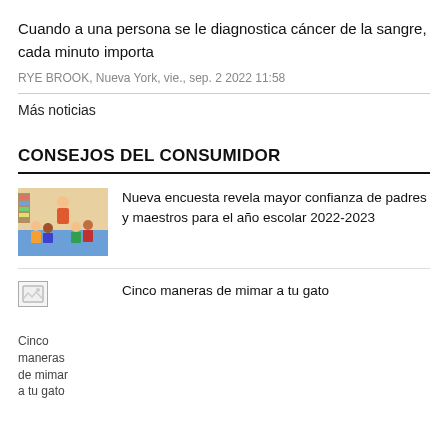Cuando a una persona se le diagnostica cáncer de la sangre, cada minuto importa
RYE BROOK, Nueva York, vie., sep. 2 2022 11:58
Más noticias
CONSEJOS DEL CONSUMIDOR
[Figure (photo): Classroom photo showing a teacher with young children sitting on the floor]
Nueva encuesta revela mayor confianza de padres y maestros para el año escolar 2022-2023
[Figure (photo): Broken image placeholder labeled 'Cinco maneras de mimar a tu gato']
Cinco maneras de mimar a tu gato